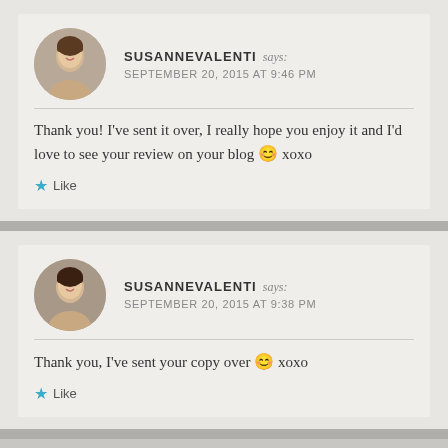SUSANNEVALENTI says: SEPTEMBER 20, 2015 AT 9:46 PM
Thank you! I've sent it over, I really hope you enjoy it and I'd love to see your review on your blog 😊 xoxo
Like
SUSANNEVALENTI says: SEPTEMBER 20, 2015 AT 9:38 PM
Thank you, I've sent your copy over 😊 xoxo
Like
GAMBLERBEHINDBARS says: